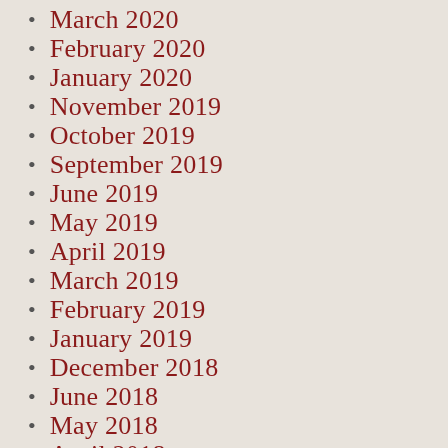March 2020
February 2020
January 2020
November 2019
October 2019
September 2019
June 2019
May 2019
April 2019
March 2019
February 2019
January 2019
December 2018
June 2018
May 2018
April 2018
March 2018